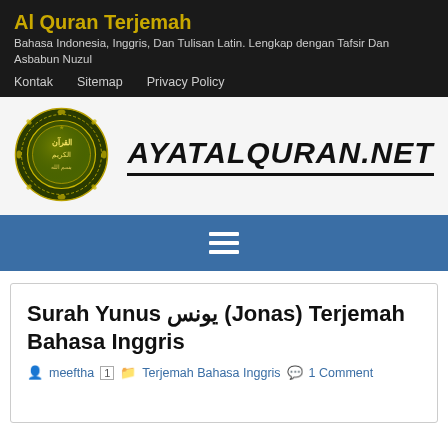Al Quran Terjemah
Bahasa Indonesia, Inggris, Dan Tulisan Latin. Lengkap dengan Tafsir Dan Asbabun Nuzul
Kontak   Sitemap   Privacy Policy
[Figure (logo): Quran circular emblem with Arabic calligraphy and floral ornaments, green/gold colors, next to text AYATALQURAN.NET in bold italic]
[Figure (other): Blue navigation bar with white hamburger menu icon (three horizontal lines)]
Surah Yunus يونس (Jonas) Terjemah Bahasa Inggris
meeftha   Terjemah Bahasa Inggris   1 Comment